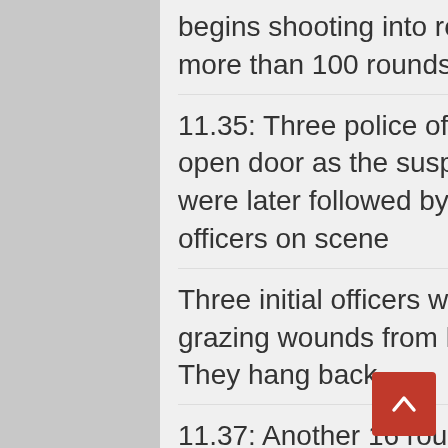11.33: Gunman enters the school and begins shooting into room 111/room 112. He shoots more than 100 rounds
11.35: Three police officers enter the same propped-open door as the suspect from the Uvalde PD. They were later followed by another four, making total of seven officers on scene
Three initial officers went directly to the door and got grazing wounds from him while the door was closed. They hang back
11.37: Another 16 rounds fired inside the classroom by the gunman
11.51: Police sergeant and USB agents arrive